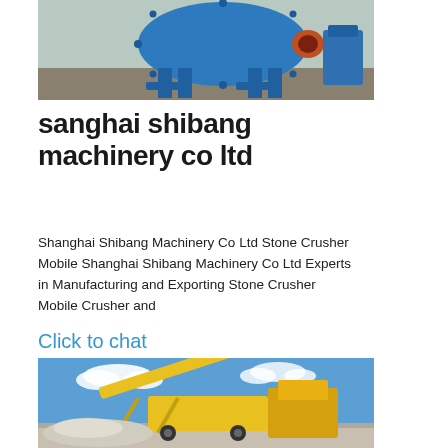[Figure (photo): Blue industrial ball mill machine photographed outdoors, showing large cylindrical drum with bolted flanges and blue structural supports/legs on a concrete pad]
sanghai shibang machinery co ltd
Shanghai Shibang Machinery Co Ltd Stone Crusher Mobile Shanghai Shibang Machinery Co Ltd Experts in Manufacturing and Exporting Stone Crusher Mobile Crusher and
Click to chat
[Figure (photo): Yellow mobile stone crusher and conveyor system operating outdoors under blue sky with white clouds, with crushed stone/gravel visible in foreground]